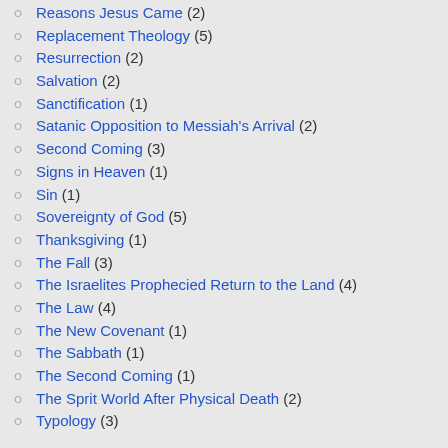Reasons Jesus Came (2)
Replacement Theology (5)
Resurrection (2)
Salvation (2)
Sanctification (1)
Satanic Opposition to Messiah's Arrival (2)
Second Coming (3)
Signs in Heaven (1)
Sin (1)
Sovereignty of God (5)
Thanksgiving (1)
The Fall (3)
The Israelites Prophecied Return to the Land (4)
The Law (4)
The New Covenant (1)
The Sabbath (1)
The Second Coming (1)
The Sprit World After Physical Death (2)
Typology (3)